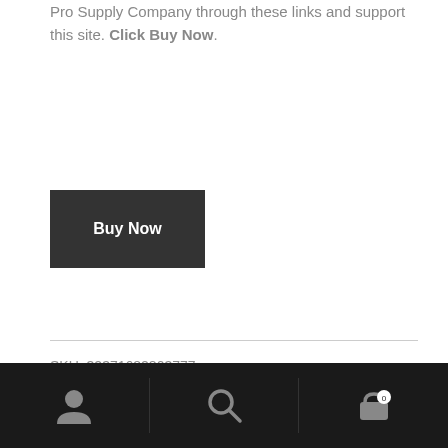Pro Supply Company through these links and support this site. Click Buy Now.
[Figure (other): Dark rectangular Buy Now button with white bold text]
SKU: 32371682803777
Category: Pet Pro Supply Company
Tags: Dog Kennels, Pets, TK Products Kennels
Description
[Figure (other): Mobile bottom navigation bar with user, search, and cart icons on dark background]